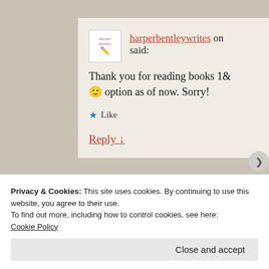harperbentleywrites on said: Thank you for reading books 1& 🙂 option as of now. Sorry!
★ Like
Reply ↓
Privacy & Cookies: This site uses cookies. By continuing to use this website, you agree to their use. To find out more, including how to control cookies, see here: Cookie Policy
Close and accept